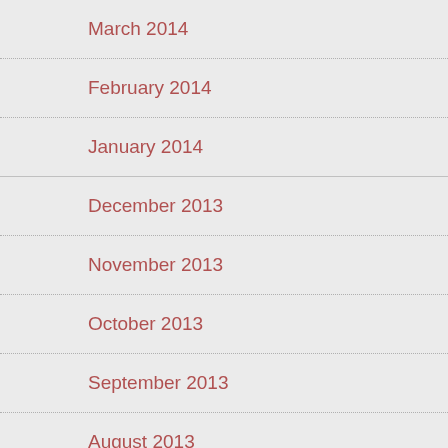March 2014
February 2014
January 2014
December 2013
November 2013
October 2013
September 2013
August 2013
July 2013
June 2013